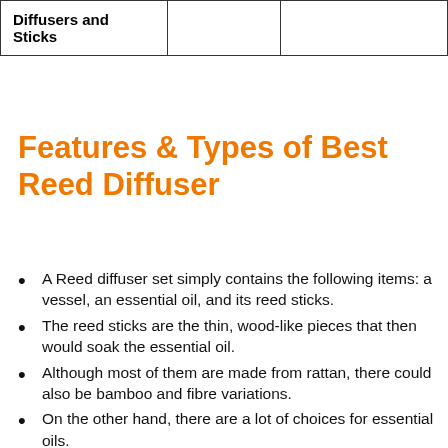| Diffusers and Sticks |  |  |
Features & Types of Best Reed Diffuser
A Reed diffuser set simply contains the following items: a vessel, an essential oil, and its reed sticks.
The reed sticks are the thin, wood-like pieces that then would soak the essential oil.
Although most of them are made from rattan, there could also be bamboo and fibre variations.
On the other hand, there are a lot of choices for essential oils.